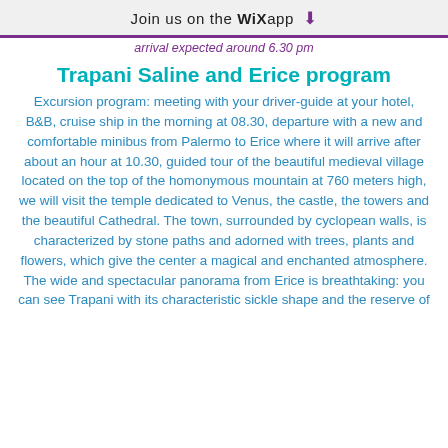Join us on the WiX app ↓
arrival expected around 6.30 pm
Trapani Saline and Erice program
Excursion program: meeting with your driver-guide at your hotel, B&B, cruise ship in the morning at 08.30, departure with a new and comfortable minibus from Palermo to Erice where it will arrive after about an hour at 10.30, guided tour of the beautiful medieval village located on the top of the homonymous mountain at 760 meters high, we will visit the temple dedicated to Venus, the castle, the towers and the beautiful Cathedral. The town, surrounded by cyclopean walls, is characterized by stone paths and adorned with trees, plants and flowers, which give the center a magical and enchanted atmosphere. The wide and spectacular panorama from Erice is breathtaking: you can see Trapani with its characteristic sickle shape and the reserve of